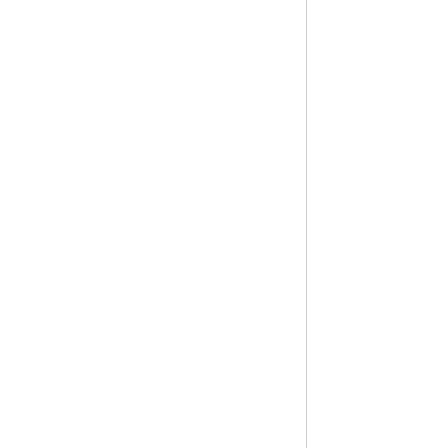- Primay 2 E-Textbook
- Primay 5 Exams
- Professi...